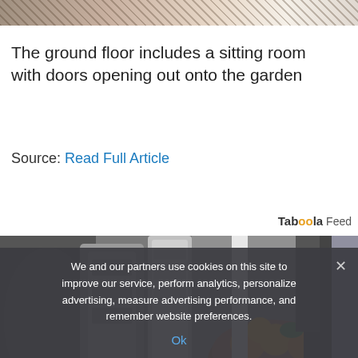[Figure (photo): Partial view of a patterned fabric or rug, partially cropped at the top of the page]
The ground floor includes a sitting room with doors opening out onto the garden
Source: Read Full Article
Taboola Feed
[Figure (photo): Kitchen appliance scene showing a juicer or coffee machine with a basket of oranges and other fruits in the background, person wearing dark clothing visible]
We and our partners use cookies on this site to improve our service, perform analytics, personalize advertising, measure advertising performance, and remember website preferences.
Ok